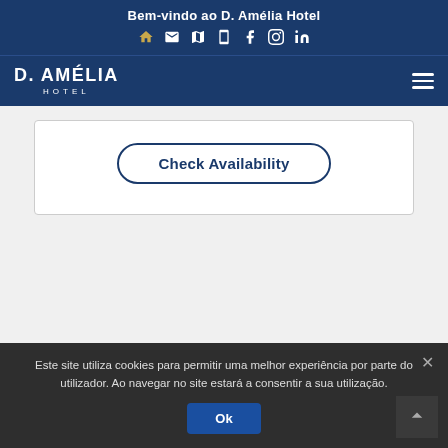Bem-vindo ao D. Amélia Hotel
[Figure (screenshot): D. Amélia Hotel website header with navigation icons (home, email, map, phone, facebook, instagram, linkedin) and hamburger menu]
Check Availability
Este site utiliza cookies para permitir uma melhor experiência por parte do utilizador. Ao navegar no site estará a consentir a sua utilização.
Ok